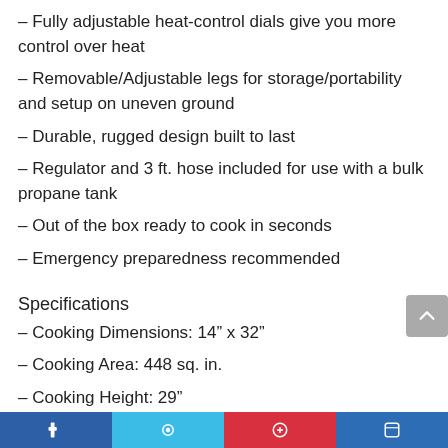– Fully adjustable heat-control dials give you more control over heat
– Removable/Adjustable legs for storage/portability and setup on uneven ground
– Durable, rugged design built to last
– Regulator and 3 ft. hose included for use with a bulk propane tank
– Out of the box ready to cook in seconds
– Emergency preparedness recommended
Specifications
– Cooking Dimensions: 14" x 32"
– Cooking Area: 448 sq. in.
– Cooking Height: 29"
– Total Output: 60,000 BTU
– Weight: 36 lbs.